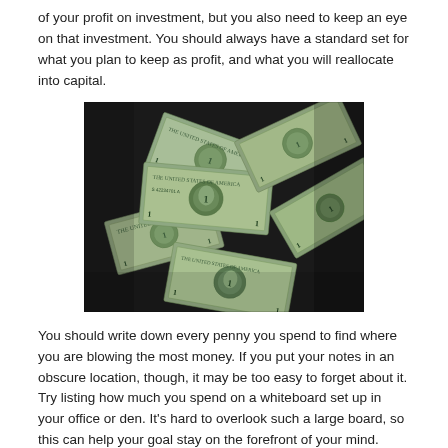of your profit on investment, but you also need to keep an eye on that investment. You should always have a standard set for what you plan to keep as profit, and what you will reallocate into capital.
[Figure (photo): A large pile of US one-dollar bills scattered and overlapping each other]
You should write down every penny you spend to find where you are blowing the most money. If you put your notes in an obscure location, though, it may be too easy to forget about it. Try listing how much you spend on a whiteboard set up in your office or den. It's hard to overlook such a large board, so this can help your goal stay on the forefront of your mind.
One simple tip for saving money is to buy discounted items. You might want to change from the usual brands you buy and only get them when you have a money off coupon. If a coupon for a brand you've never